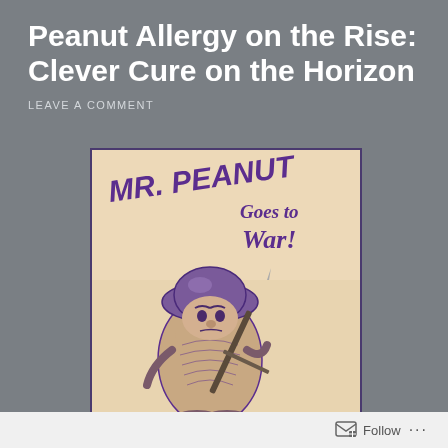Peanut Allergy on the Rise: Clever Cure on the Horizon
LEAVE A COMMENT
[Figure (illustration): Vintage poster illustration of 'Mr. Peanut Goes to War!' showing an anthropomorphic peanut character dressed as a soldier with a helmet and rifle, rendered in purple/violet tones on a tan/cream background with a dark blue border.]
Follow